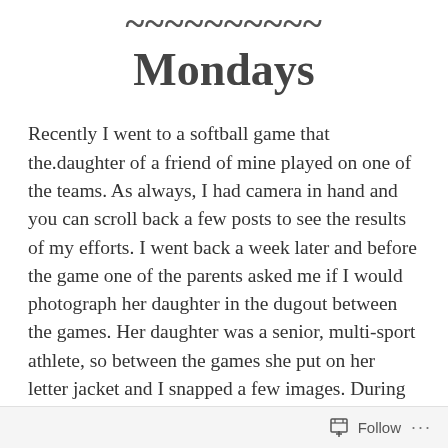Mondays
Recently I went to a softball game that the.daughter of a friend of mine played on one of the teams. As always, I had camera in hand and you can scroll back a few posts to see the results of my efforts. I went back a week later and before the game one of the parents asked me if I would photograph her daughter in the dugout between the games. Her daughter was a senior, multi-sport athlete, so between the games she put on her letter jacket and I snapped a few images. During the game I managed to capture a couple of action images. I love doing this sort of thing. I get to practice
Follow ...